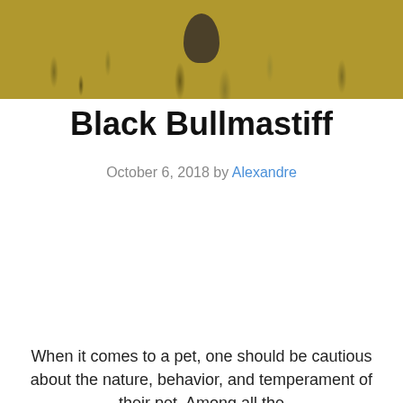[Figure (photo): Photo of a black dog (Bullmastiff) in tall golden/yellow grass outdoors]
Black Bullmastiff
October 6, 2018 by Alexandre
Contents
1 Black Bullmastiff Weight and Height:
2 Average Lifespan of Black Bullmastiff:
3 Diseases in Black Bullmastiff:
When it comes to a pet, one should be cautious about the nature, behavior, and temperament of their pet. Among all the